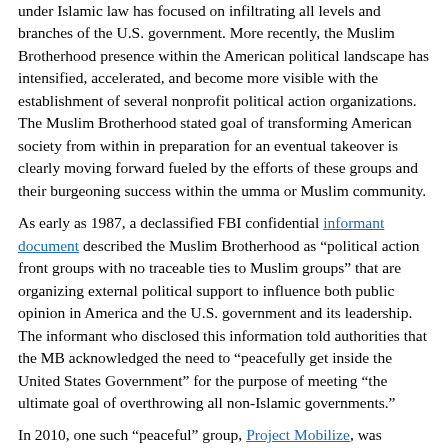under Islamic law has focused on infiltrating all levels and branches of the U.S. government. More recently, the Muslim Brotherhood presence within the American political landscape has intensified, accelerated, and become more visible with the establishment of several nonprofit political action organizations. The Muslim Brotherhood stated goal of transforming American society from within in preparation for an eventual takeover is clearly moving forward fueled by the efforts of these groups and their burgeoning success within the umma or Muslim community.
As early as 1987, a declassified FBI confidential informant document described the Muslim Brotherhood as “political action front groups with no traceable ties to Muslim groups” that are organizing external political support to influence both public opinion in America and the U.S. government and its leadership. The informant who disclosed this information told authorities that the MB acknowledged the need to “peacefully get inside the United States Government” for the purpose of meeting “the ultimate goal of overthrowing all non-Islamic governments.”
In 2010, one such “peaceful” group, Project Mobilize, was created by M. Yasser Tabbara to empower and engage the political potential of the Muslim community.  Its mission statement called for the exploitation of the growing political capital of the umma, the promotion of issues important to Muslim Americans and the development of strategies for political advocacy on their behalf.  In 2011, Project Mobilize began fielding its first Muslim candidates for political office.
Project Mobilize founder Tabbara ran for a seat on the...